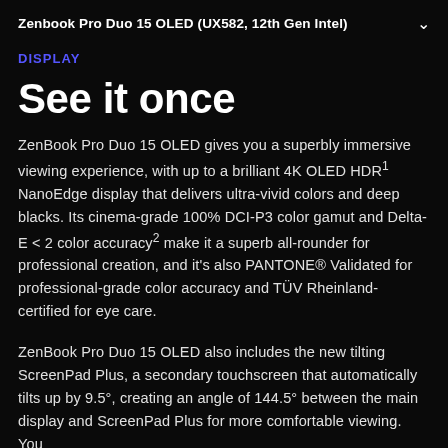Zenbook Pro Duo 15 OLED (UX582, 12th Gen Intel)
DISPLAY
See it once
ZenBook Pro Duo 15 OLED gives you a superbly immersive viewing experience, with up to a brilliant 4K OLED HDR¹ NanoEdge display that delivers ultra-vivid colors and deep blacks. Its cinema-grade 100% DCI-P3 color gamut and Delta-E < 2 color accuracy² make it a superb all-rounder for professional creation, and it's also PANTONE® Validated for professional-grade color accuracy and TÜV Rheinland-certified for eye care.
ZenBook Pro Duo 15 OLED also includes the new tilting ScreenPad Plus, a secondary touchscreen that automatically tilts up by 9.5°, creating an angle of 144.5° between the main display and ScreenPad Plus for more comfortable viewing. You